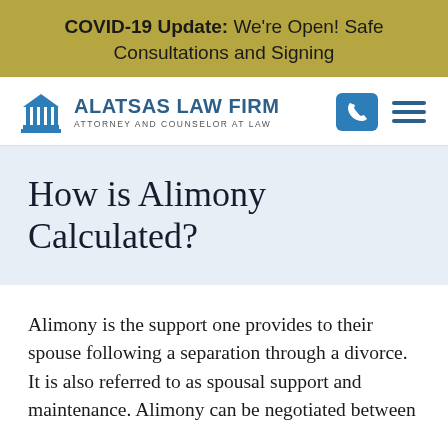COVID-19 Update: We're Open! Safe Consultations and Signing
[Figure (logo): Alatsas Law Firm logo with courthouse icon, text: ALATSAS LAW FIRM, ATTORNEY AND COUNSELOR AT LAW]
How is Alimony Calculated?
Alimony is the support one provides to their spouse following a separation through a divorce. It is also referred to as spousal support and maintenance. Alimony can be negotiated between